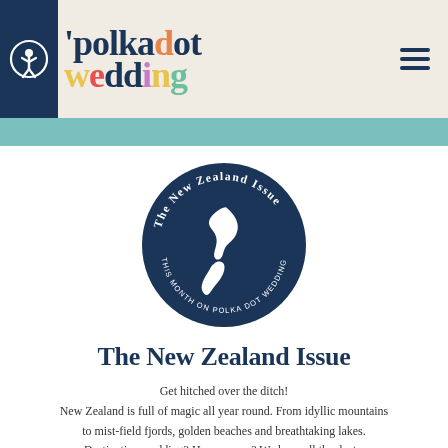polkadot wedding
[Figure (logo): Circular dark navy badge with white New Zealand map silhouette in center, curved text reading 'The New Zealand Issue' at top and 'THIS MONTH ON POLKA DOT WEDDING' at bottom]
The New Zealand Issue
Get hitched over the ditch!
New Zealand is full of magic all year round. From idyllic mountains to mist-field fjords, golden beaches and breathtaking lakes. Destination wedding? Honeymoon? We have all the deets.